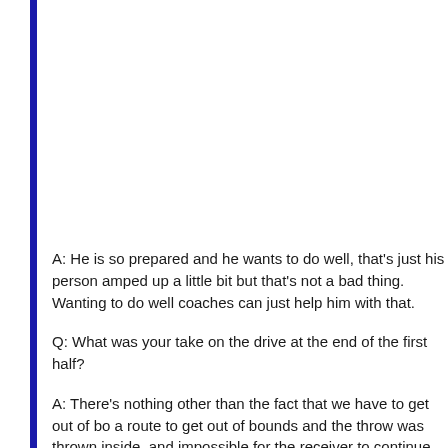A: He is so prepared and he wants to do well, that's just his person amped up a little bit but that's not a bad thing. Wanting to do well coaches can just help him with that.
Q: What was your take on the drive at the end of the first half?
A: There's nothing other than the fact that we have to get out of bo a route to get out of bounds and the throw was thrown inside, and impossible for the receiver to continue out of bounds. We knew w because we didn't have any timeouts. We had that communicated